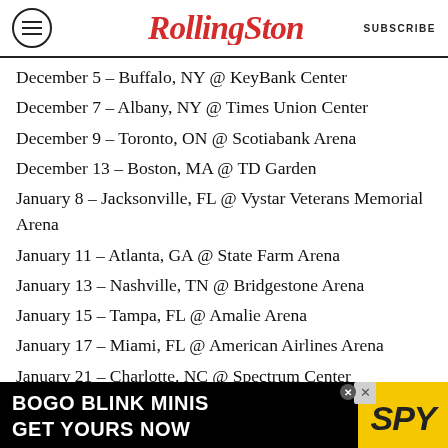RollingStone | SUBSCRIBE
December 5 – Buffalo, NY @ KeyBank Center
December 7 – Albany, NY @ Times Union Center
December 9 – Toronto, ON @ Scotiabank Arena
December 13 – Boston, MA @ TD Garden
January 8 – Jacksonville, FL @ Vystar Veterans Memorial Arena
January 11 – Atlanta, GA @ State Farm Arena
January 13 – Nashville, TN @ Bridgestone Arena
January 15 – Tampa, FL @ Amalie Arena
January 17 – Miami, FL @ American Airlines Arena
January 21 – Charlotte, NC @ Spectrum Center
January 30 – San Antonio, TX @ AT&T Center
February 1 – Houston, TX @ Toyota Center
[Figure (other): BOGO BLINK MINIS GET YOURS NOW advertisement banner with SPY logo on yellow background]